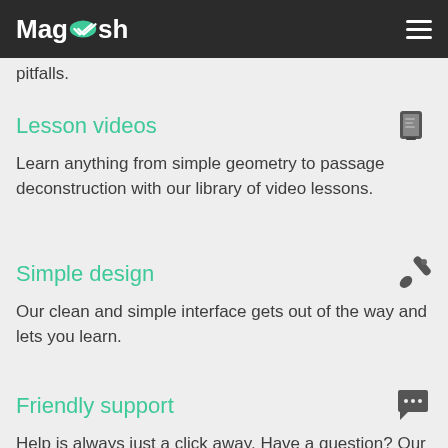Magoosh
pitfalls.
Lesson videos
Learn anything from simple geometry to passage deconstruction with our library of video lessons.
Simple design
Our clean and simple interface gets out of the way and lets you learn.
Friendly support
Help is always just a click away. Have a question? Our tutors will answer it quickly and clearly.